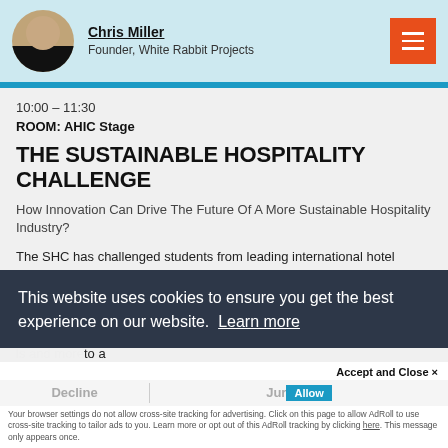Chris Miller
Founder, White Rabbit Projects
10:00 – 11:30
ROOM: AHIC Stage
THE SUSTAINABLE HOSPITALITY CHALLENGE
How Innovation Can Drive The Future Of A More Sustainable Hospitality Industry?
The SHC has challenged students from leading international hotel scho... 2050... curre... to a... bein...
This website uses cookies to ensure you get the best experience on our website. Learn more
Accept and Close ×
Decline
Your browser settings do not allow cross-site tracking for advertising. Click on this page to allow AdRoll to use cross-site tracking to tailor ads to you. Learn more or opt out of this AdRoll tracking by clicking here. This message only appears once.